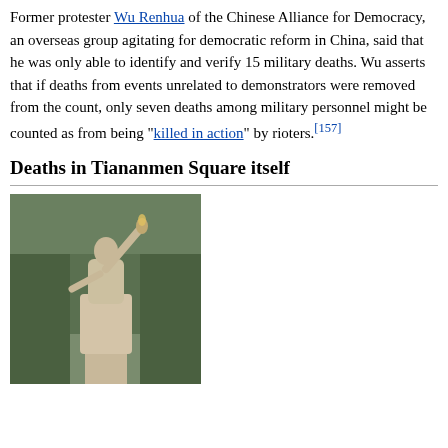Former protester Wu Renhua of the Chinese Alliance for Democracy, an overseas group agitating for democratic reform in China, said that he was only able to identify and verify 15 military deaths. Wu asserts that if deaths from events unrelated to demonstrators were removed from the count, only seven deaths among military personnel might be counted as from being "killed in action" by rioters.[157]
Deaths in Tiananmen Square itself
[Figure (photo): A stone or concrete statue of a robed figure holding a torch aloft, photographed outdoors against a background of trees. The statue appears to be a Goddess of Democracy-style figure.]